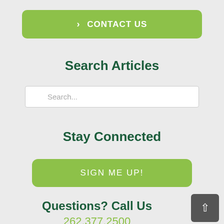[Figure (other): Green rounded button with right arrow and text CONTACT US]
Search Articles
[Figure (other): Search input box with magnifying glass icon and placeholder text Search...]
Stay Connected
[Figure (other): Green rounded button with text SIGN ME UP!]
Questions? Call Us
262.377.2500
[Figure (other): Dark grey square back-to-top button with upward chevron arrow]